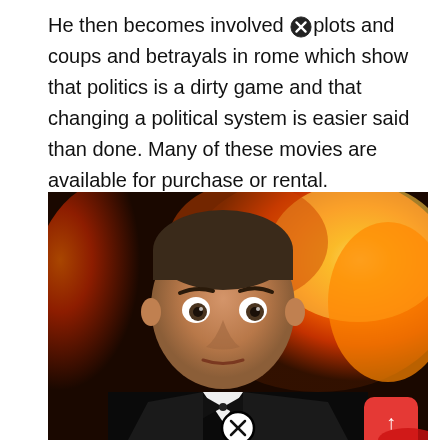He then becomes involved ⓧplots and coups and betrayals in rome which show that politics is a dirty game and that changing a political system is easier said than done. Many of these movies are available for purchase or rental.
[Figure (photo): A man in a tuxedo with a bow tie making a wide-eyed surprised expression, with a large fireball explosion in the background. A red scroll-to-top button is visible in the bottom right. A close/remove icon is at the bottom center.]